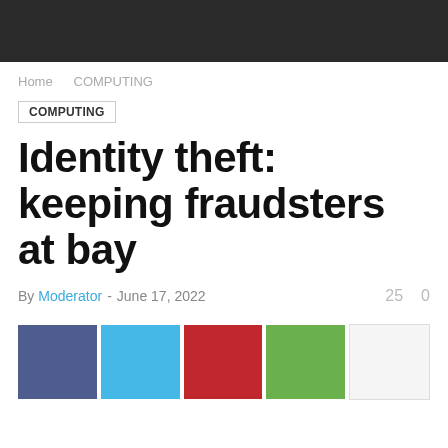Home   COMPUTING
COMPUTING
Identity theft: keeping fraudsters at bay
By Moderator - June 17, 2022   25   0
[Figure (other): Five social sharing buttons: Facebook (dark blue), Twitter (light blue), Pinterest (red), Google+ (green), and a white/more button]